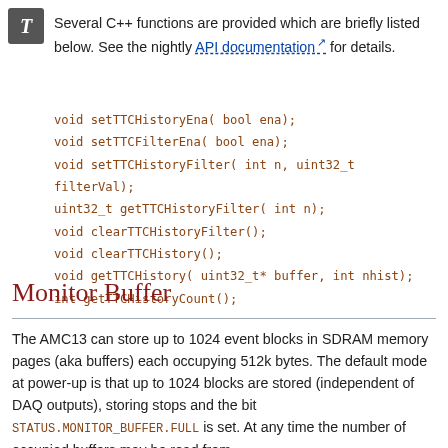[Figure (logo): Gray square icon with italic letter T in white]
Several C++ functions are provided which are briefly listed below. See the nightly API documentation for details.
void setTTCHistoryEna( bool ena);
void setTTCFilterEna( bool ena);
void setTTCHistoryFilter( int n, uint32_t filterVal);
uint32_t getTTCHistoryFilter( int n);
void clearTTCHistoryFilter();
void clearTTCHistory();
void getTTCHistory( uint32_t* buffer, int nhist);
int getTTCHistoryCount();
Monitor Buffer
The AMC13 can store up to 1024 event blocks in SDRAM memory pages (aka buffers) each occupying 512k bytes. The default mode at power-up is that up to 1024 blocks are stored (independent of DAQ outputs), storing stops and the bit STATUS.MONITOR_BUFFER.FULL is set. At any time the number of occupied buffers may be read from STATUS.MONITOR_BUFFER.UNREAD_EVENTS. Note that if any AMC